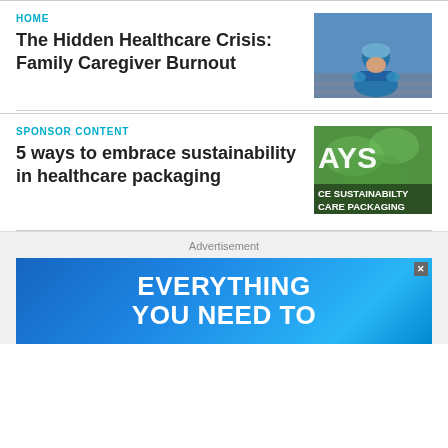HOME
The Hidden Healthcare Crisis: Family Caregiver Burnout
[Figure (photo): Healthcare worker in blue scrubs and hair net sitting on steps with head down, appearing exhausted]
SPONSOR CONTENT
5 ways to embrace sustainability in healthcare packaging
[Figure (photo): Green background image with text overlay reading AYS CE SUSTAINABILTY CARE PACKAGING]
Advertisement
[Figure (photo): Blue gradient advertisement banner with bold white text reading EVERYTHING YOU NEED TO with a close X button]